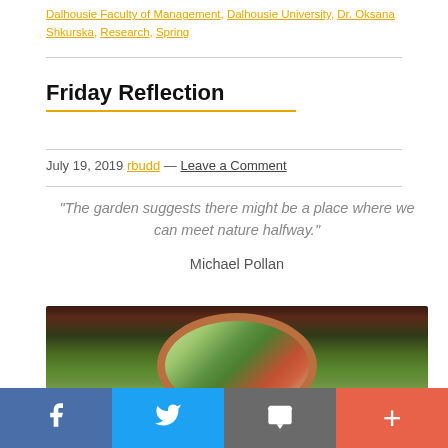Dalhousie Faculty of Management, Dalhousie University, Dr. Oksana Shkurska, Research, Spring
Friday Reflection
July 19, 2019 rbudd — Leave a Comment
"The garden suggests there might be a place where we can meet nature halfway."

Michael Pollan
[Figure (photo): Circular window framed with orange/terracotta border showing view of trees and autumn foliage]
Social share bar: Facebook, Twitter, Email, More